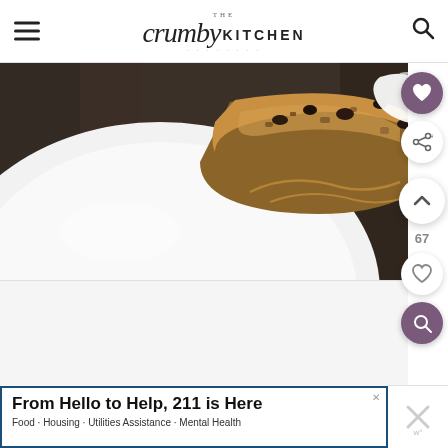The Crumby Kitchen
[Figure (photo): Close-up photo of a slice of baked dessert (appears to be a cake or bar) on a white plate, with whipped cream topping, viewed from above on a dark wooden surface]
[Figure (screenshot): White/light gray content area below the food photo, partially visible]
From Hello to Help, 211 is Here
Food · Housing · Utilities Assistance · Mental Health